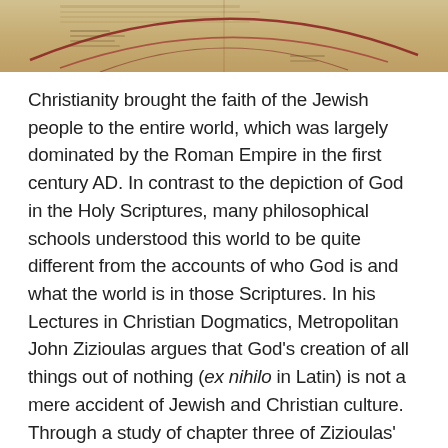[Figure (illustration): A partial view of an ancient manuscript or map with reddish-brown curved lines and faded text on a yellowish-beige parchment background.]
Christianity brought the faith of the Jewish people to the entire world, which was largely dominated by the Roman Empire in the first century AD. In contrast to the depiction of God in the Holy Scriptures, many philosophical schools understood this world to be quite different from the accounts of who God is and what the world is in those Scriptures. In his Lectures in Christian Dogmatics, Metropolitan John Zizioulas argues that God’s creation of all things out of nothing (ex nihilo in Latin) is not a mere accident of Jewish and Christian culture. Through a study of chapter three of Zizioulas’ Lectures in Dogmatics, we will see that one’s perspective on creation has many important implications that affect our faith and understanding of this world.